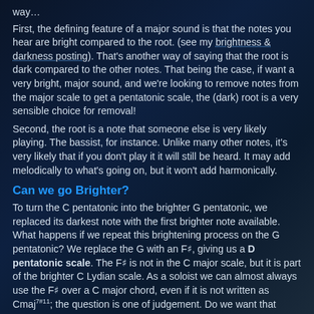way…
First, the defining feature of a major sound is that the notes you hear are bright compared to the root. (see my brightness & darkness posting). That's another way of saying that the root is dark compared to the other notes. That being the case, if want a very bright, major sound, and we're looking to remove notes from the major scale to get a pentatonic scale, the (dark) root is a very sensible choice for removal!
Second, the root is a note that someone else is very likely playing. The bassist, for instance. Unlike many other notes, it's very likely that if you don't play it it will still be heard. It may add melodically to what's going on, but it won't add harmonically.
Can we go Brighter?
To turn the C pentatonic into the brighter G pentatonic, we replaced its darkest note with the first brighter note available. What happens if we repeat this brightening process on the G pentatonic? We replace the G with an F♯, giving us a D pentatonic scale. The F♯ is not in the C major scale, but it is part of the brighter C Lydian scale. As a soloist we can almost always use the F♯ over a C major chord, even if it is not written as Cmaj7#11; the question is one of judgement. Do we want that bright sound? The answer depends on